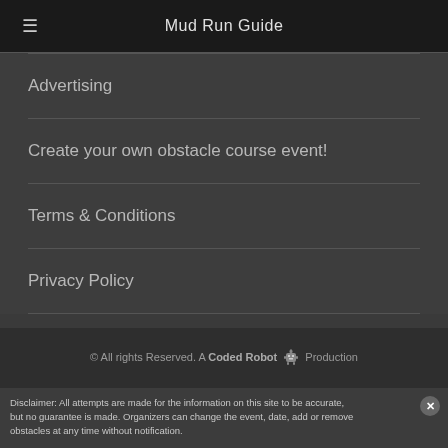Mud Run Guide
Advertising
Create your own obstacle course event!
Terms & Conditions
Privacy Policy
© All rights Reserved. A Coded Robot Production
Disclaimer: All attempts are made for the information on this site to be accurate, but no guarantee is made. Organizers can change the event, date, add or remove...